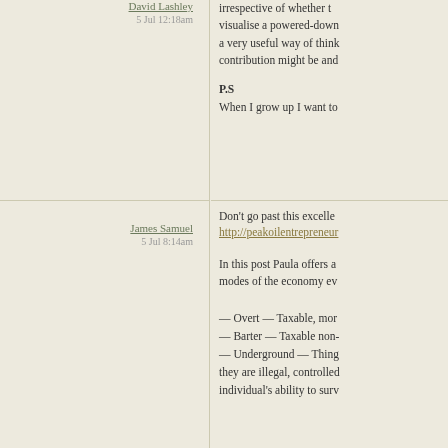David Lashley
5 Jul 12:18am
irrespective of whether t... visualise a powered-down... a very useful way of think... contribution might be and...
P.S
When I grow up I want to...
James Samuel
5 Jul 8:14am
Don't go past this excelle...
http://peakoilentrepreneur...
In this post Paula offers a... modes of the economy ev...
— Overt — Taxable, mor...
— Barter — Taxable non-...
— Underground — Thing... they are illegal, controlled... individual's ability to surv...